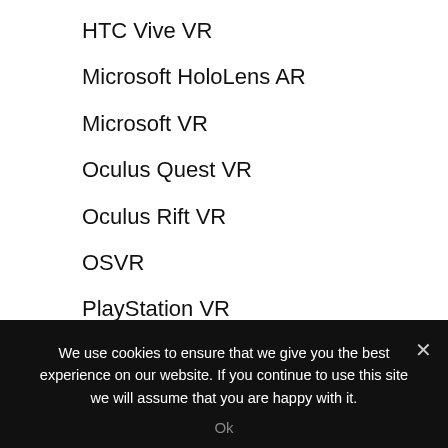HTC Vive VR
Microsoft HoloLens AR
Microsoft VR
Oculus Quest VR
Oculus Rift VR
OSVR
PlayStation VR
Samsung Gear VR
Valve Index VR
We use cookies to ensure that we give you the best experience on our website. If you continue to use this site we will assume that you are happy with it.
Ok